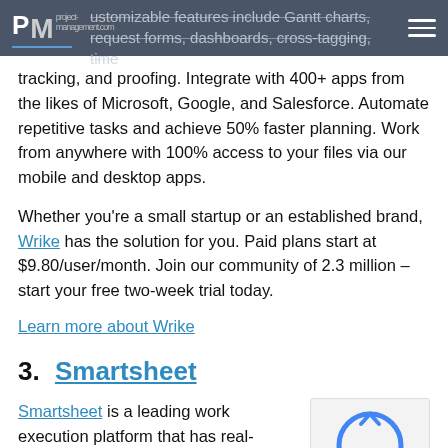PM project-management.com | Customizable features include Gantt charts, request forms, dashboards, cross-tagging, time tracking, and proofing.
tracking, and proofing. Integrate with 400+ apps from the likes of Microsoft, Google, and Salesforce. Automate repetitive tasks and achieve 50% faster planning. Work from anywhere with 100% access to your files via our mobile and desktop apps.
Whether you’re a small startup or an established brand, Wrike has the solution for you. Paid plans start at $9.80/user/month. Join our community of 2.3 million – start your free two-week trial today.
Learn more about Wrike
3. Smartsheet
Smartsheet is a leading work execution platform that has real-